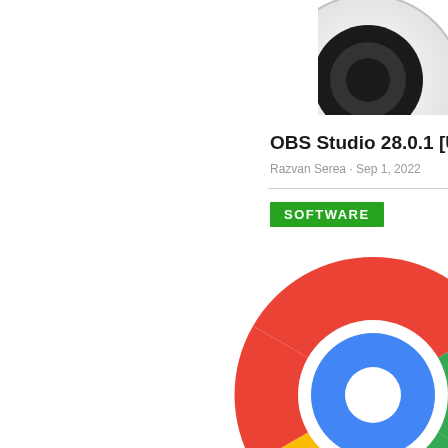[Figure (logo): OBS Studio logo - black and white circular icon, partially cropped at top right]
OBS Studio 28.0.1 [U
Razvan Serea · Sep 1, 2022
SOFTWARE
[Figure (logo): Google Chrome logo - large colorful circular icon with red, green, yellow segments and blue center, partially cropped at right]
Google Chrome 105
[Figure (screenshot): Advertisement banner: Ad label, BitLife cheating/creative winning themed image on left, BitLife Life Simulator app icon and name on right, Install button below]